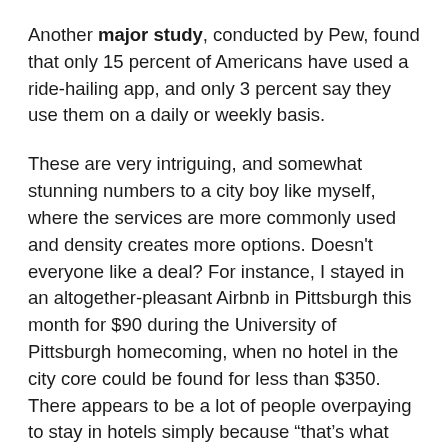Another major study, conducted by Pew, found that only 15 percent of Americans have used a ride-hailing app, and only 3 percent say they use them on a daily or weekly basis.
These are very intriguing, and somewhat stunning numbers to a city boy like myself, where the services are more commonly used and density creates more options. Doesn't everyone like a deal? For instance, I stayed in an altogether-pleasant Airbnb in Pittsburgh this month for $90 during the University of Pittsburgh homecoming, when no hotel in the city core could be found for less than $350. There appears to be a lot of people overpaying to stay in hotels simply because “that’s what we’ve always done.”
It makes me wonder how old-school models like hotels, taxis, and transit are going to survive once a lot more people start realizing they have all these other options. Do they even need to survive? Have we simply been doing it all wrong all these years?
Perhaps part of the problem in reaching people might